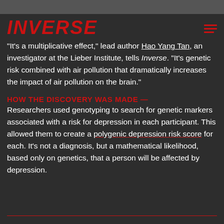INVERSE
“It’s a multiplicative effect,” lead author Hao Yang Tan, an investigator at the Lieber Institute, tells Inverse. “It’s genetic risk combined with air pollution that dramatically increases the impact of air pollution on the brain.”
HOW THE DISCOVERY WAS MADE —
Researchers used genotyping to search for genetic markers associated with a risk for depression in each participant. This allowed them to create a polygenic depression risk score for each. It’s not a diagnosis, but a mathematical likelihood, based only on genetics, that a person will be affected by depression.